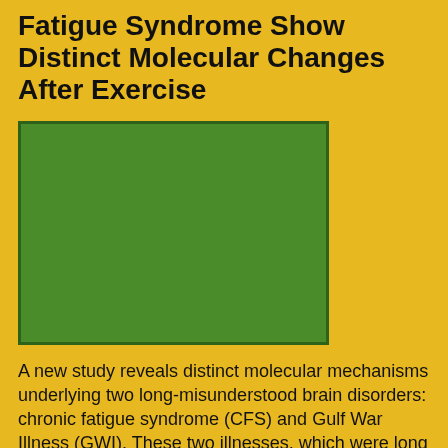Fatigue Syndrome Show Distinct Molecular Changes After Exercise
[Figure (photo): A large green rectangular image placeholder, likely a photo related to the article about chronic fatigue syndrome and Gulf War Illness.]
A new study reveals distinct molecular mechanisms underlying two long-misunderstood brain disorders: chronic fatigue syndrome (CFS) and Gulf War Illness (GWI). These two illnesses, which were long thought to be psychological in nature, share significant commonalities such as pain, fatigue, cognitive dysfunction, and exhaustion after exercise